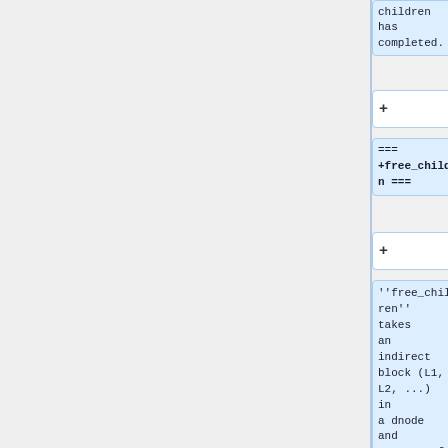children has completed.
+
=== free_children ===
+
''free_children'' takes an indirect block (L1, L2, ...) in a dnode and a range of L0 blocks to be freed. At a high-level, it handles two cases. If